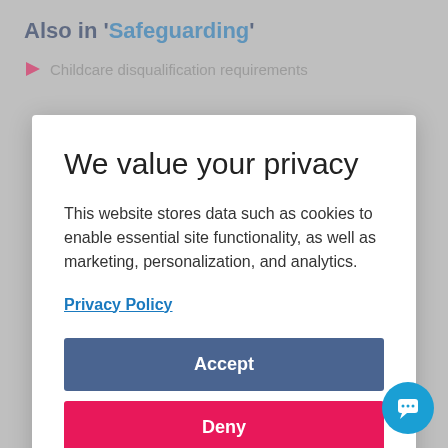Also in 'Safeguarding'
Childcare disqualification requirements
We value your privacy
This website stores data such as cookies to enable essential site functionality, as well as marketing, personalization, and analytics.
Privacy Policy
Accept
Deny